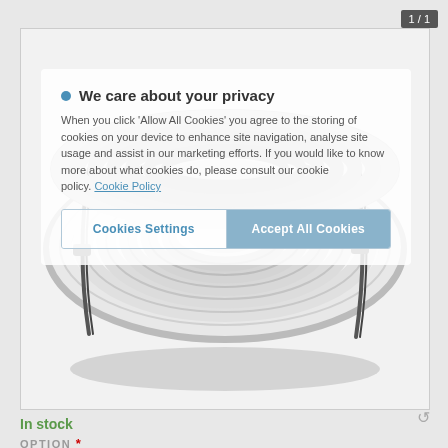1 / 1
[Figure (photo): A coil of white multi-layered barrier pipe (50m roll) with metal ties, displayed on a white/grey background]
We care about your privacy
When you click 'Allow All Cookies' you agree to the storing of cookies on your device to enhance site navigation, analyse site usage and assist in our marketing efforts. If you would like to know more about what cookies do, please consult our cookie policy. Cookie Policy
Cookies Settings
Accept All Cookies
In stock
OPTION *
12mm ProWarm? Multi-layered Barrier Pipe 50m (£79.9